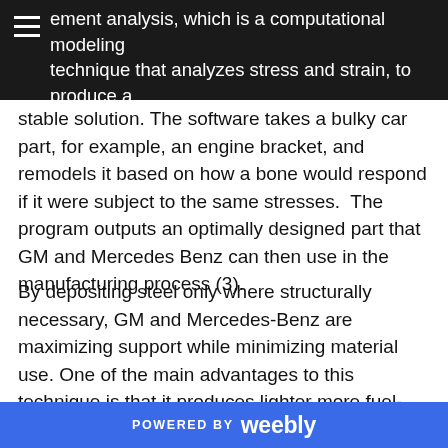ement analysis, which is a computational modeling technique that analyzes stress and strain, to produce a
stable solution. The software takes a bulky car part, for example, an engine bracket, and remodels it based on how a bone would respond if it were subject to the same stresses. The program outputs an optimally designed part that GM and Mercedes Benz can then use in the manufacturing process (3).
By depositing steel only where structurally necessary, GM and Mercedes-Benz are maximizing support while minimizing material use. One of the main advantages to this technique is that it produces lighter more fuel-efficient automobiles without sacrificing structural integrity (3). This is both environmentally friendly and cost-effective, a claim supported by the Department of Energy, which states that vehicles which weigh 10% less improve fuel...
POWERED BY weebly